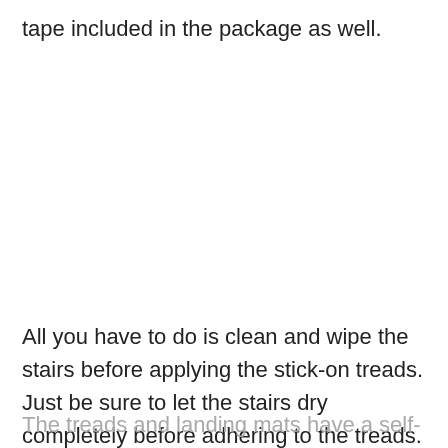tape included in the package as well.
All you have to do is clean and wipe the stairs before applying the stick-on treads. Just be sure to let the stairs dry completely before adhering to the treads.
The treads and landing mats have a self-adhesive...